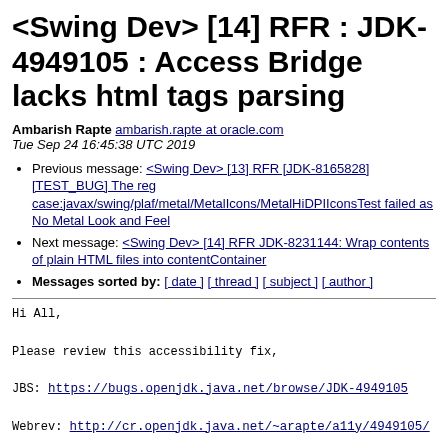<Swing Dev> [14] RFR : JDK-4949105 : Access Bridge lacks html tags parsing
Ambarish Rapte ambarish.rapte at oracle.com
Tue Sep 24 16:45:38 UTC 2019
Previous message: <Swing Dev> [13] RFR [JDK-8165828] [TEST_BUG] The reg case:javax/swing/plaf/metal/MetalIcons/MetalHiDPIIconsTest failed as No Metal Look and Feel
Next message: <Swing Dev> [14] RFR JDK-8231144: Wrap contents of plain HTML files into contentContainer
Messages sorted by: [ date ] [ thread ] [ subject ] [ author ]
Hi All,

Please review this accessibility fix,

JBS: https://bugs.openjdk.java.net/browse/JDK-4949105

Webrev: http://cr.openjdk.java.net/~arapte/a11y/4949105/